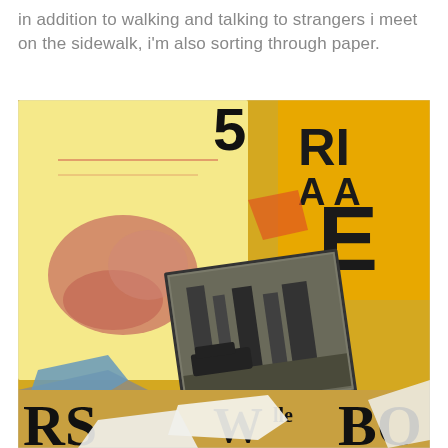in addition to walking and talking to strangers i meet on the sidewalk, i'm also sorting through paper.
[Figure (photo): A pile of various papers, prints, and cardboard pieces scattered on a surface. Includes yellow paper with large black letters partially visible (showing 'E', 'RS', 'BO', 'lle'), a black and white photograph of a street/building scene, a watercolor painting with pinkish-red abstract shapes, and torn white paper pieces. Warm amber/yellow lighting overall.]